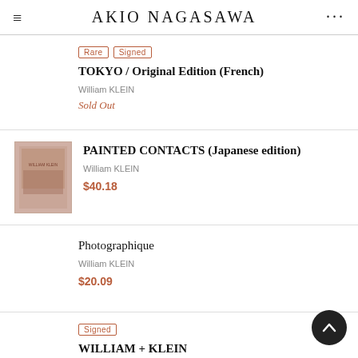AKIO NAGASAWA
Rare  Signed
TOKYO / Original Edition (French)
William KLEIN
Sold Out
PAINTED CONTACTS (Japanese edition)
William KLEIN
$40.18
Photographique
William KLEIN
$20.09
Signed
WILLIAM + KLEIN